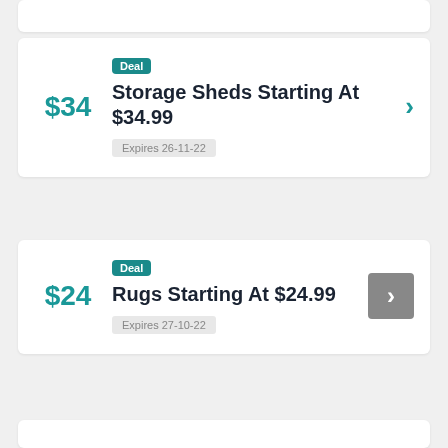$34
Deal
Storage Sheds Starting At $34.99
Expires 26-11-22
$24
Deal
Rugs Starting At $24.99
Expires 27-10-22